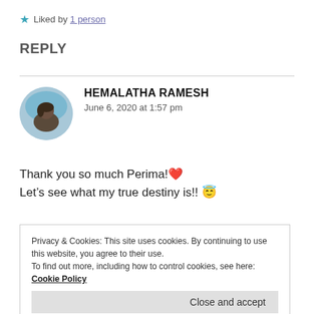★ Liked by 1 person
REPLY
[Figure (photo): Circular avatar photo of Hemalatha Ramesh, showing a person against a blue sky background]
HEMALATHA RAMESH
June 6, 2020 at 1:57 pm
Thank you so much Perima! ❤️
Let's see what my true destiny is!! 😇
Privacy & Cookies: This site uses cookies. By continuing to use this website, you agree to their use.
To find out more, including how to control cookies, see here: Cookie Policy
Close and accept